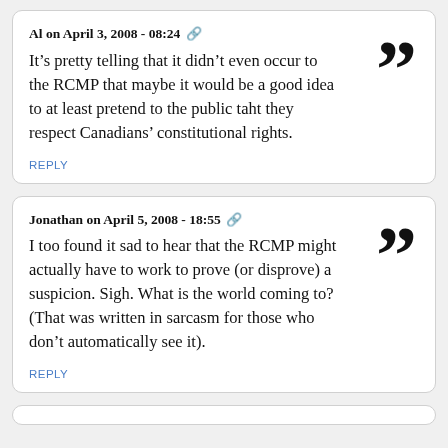Al on April 3, 2008 - 08:24
It’s pretty telling that it didn’t even occur to the RCMP that maybe it would be a good idea to at least pretend to the public taht they respect Canadians’ constitutional rights.
REPLY
Jonathan on April 5, 2008 - 18:55
I too found it sad to hear that the RCMP might actually have to work to prove (or disprove) a suspicion. Sigh. What is the world coming to? (That was written in sarcasm for those who don’t automatically see it).
REPLY